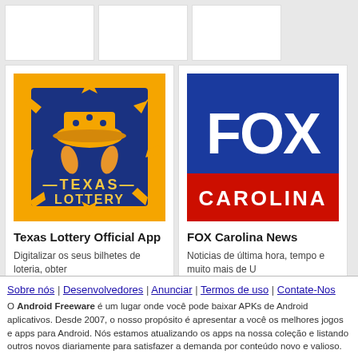[Figure (screenshot): Top row of app cards (placeholder white boxes)]
[Figure (logo): Texas Lottery Official App icon - yellow/blue lottery logo]
Texas Lottery Official App
Digitalizar os seus bilhetes de loteria, obter
[Figure (logo): FOX Carolina News app icon - blue and red FOX CAROLINA logo]
FOX Carolina News
Noticias de última hora, tempo e muito mais de U
Sobre nós | Desenvolvedores | Anunciar | Termos de uso | Contate-Nos
O Android Freeware é um lugar onde você pode baixar APKs de Android aplicativos. Desde 2007, o nosso propósito é apresentar a você os melhores jogos e apps para Android. Nós estamos atualizando os apps na nossa coleção e listando outros novos diariamente para satisfazer a demanda por conteúdo novo e valioso.